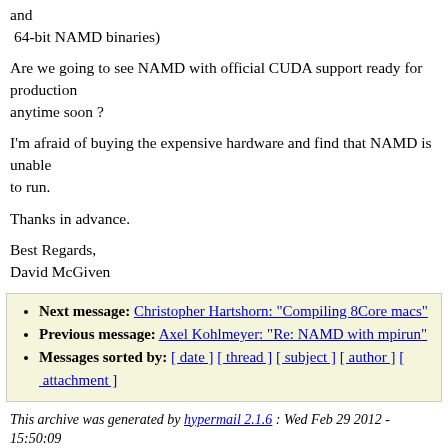and
 64-bit NAMD binaries)
Are we going to see NAMD with official CUDA support ready for production
anytime soon ?
I'm afraid of buying the expensive hardware and find that NAMD is unable
to run.
Thanks in advance.
Best Regards,
David McGiven
Next message: Christopher Hartshorn: "Compiling 8Core macs"
Previous message: Axel Kohlmeyer: "Re: NAMD with mpirun"
Messages sorted by: [ date ] [ thread ] [ subject ] [ author ] [ attachment ]
This archive was generated by hypermail 2.1.6 : Wed Feb 29 2012 - 15:50:09 CST